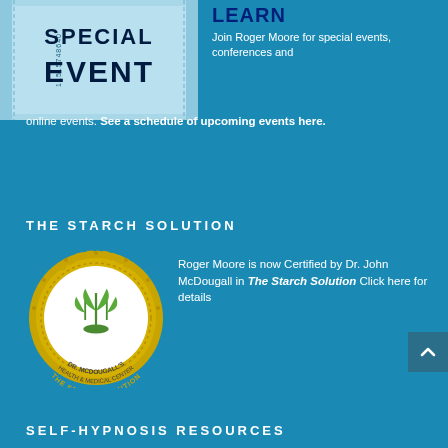[Figure (illustration): Special Event ticket illustration — blue tinted ticket stub with text 'SPECIAL EVENT' and barcode number 11515748640]
LEARN
Join Roger Moore for special events, conferences and online events. See a schedule of upcoming events here.
THE STARCH SOLUTION
[Figure (logo): Gold circular certified badge — Dr. McDougall's Health & Medical Center — The Starch Solution certification logo with plant illustration]
Roger Moore is now Certified by Dr. John McDougall in The Starch Solution Click here for details
SELF-HYPNOSIS RESOURCES